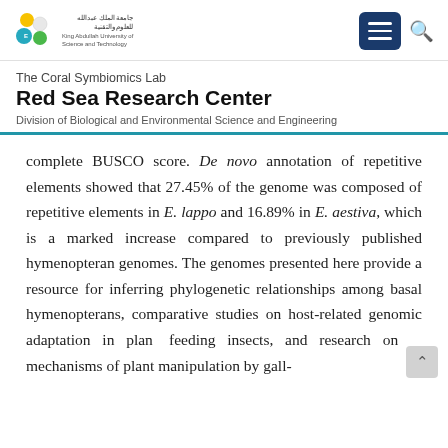King Abdullah University of Science and Technology — The Coral Symbiomics Lab, Red Sea Research Center
The Coral Symbiomics Lab
Red Sea Research Center
Division of Biological and Environmental Science and Engineering
complete BUSCO score. De novo annotation of repetitive elements showed that 27.45% of the genome was composed of repetitive elements in E. lappo and 16.89% in E. aestiva, which is a marked increase compared to previously published hymenopteran genomes. The genomes presented here provide a resource for inferring phylogenetic relationships among basal hymenopterans, comparative studies on host-related genomic adaptation in plant feeding insects, and research on mechanisms of plant manipulation by gall-